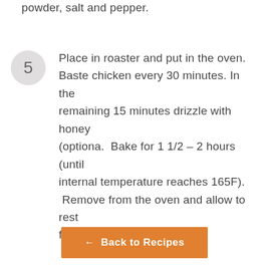powder, salt and pepper.
5 Place in roaster and put in the oven. Baste chicken every 30 minutes. In the remaining 15 minutes drizzle with honey (optiona.  Bake for 1 1/2 – 2 hours (until internal temperature reaches 165F).  Remove from the oven and allow to rest for 15min before slicing.
← Back to Recipes